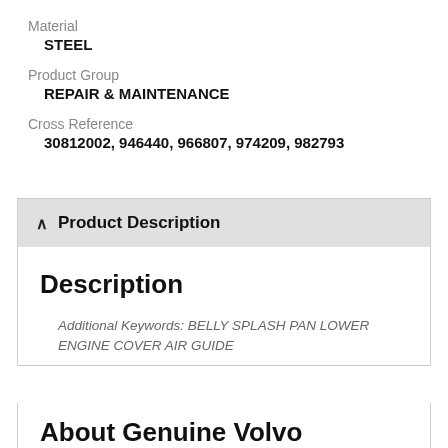Material
STEEL
Product Group
REPAIR & MAINTENANCE
Cross Reference
30812002, 946440, 966807, 974209, 982793
Product Description
Description
Additional Keywords: BELLY SPLASH PAN LOWER ENGINE COVER AIR GUIDE
About Genuine Volvo